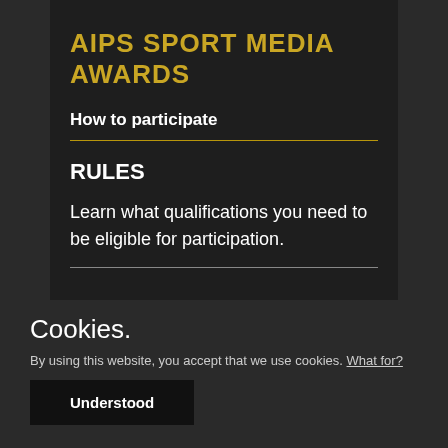AIPS SPORT MEDIA AWARDS
How to participate
RULES
Learn what qualifications you need to be eligible for participation.
Cookies.
By using this website, you accept that we use cookies. What for?
Understood